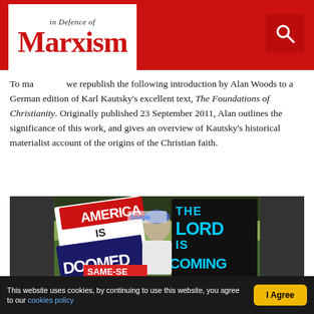In Defence of Marxism
To mark [this occasion] we republish the following introduction by Alan Woods to a German edition of Karl Kautsky's excellent text, The Foundations of Christianity. Originally published 23 September 2011, Alan outlines the significance of this work, and gives an overview of Kautsky's historical materialist account of the origins of the Christian faith.
[Figure (photo): A woman holding two protest signs outdoors near a Google sign. Left sign reads 'AMERICA IS DOOMED' (red, white, blue). Right sign reads 'THE LORD IS COMING' (cyan text on black). She wears a blue baseball cap and sunglasses. A third sign partially visible at bottom reads 'SAME-SEX...']
This website uses cookies, by continuing to use this website, you agree to our cookies policy  I Agree